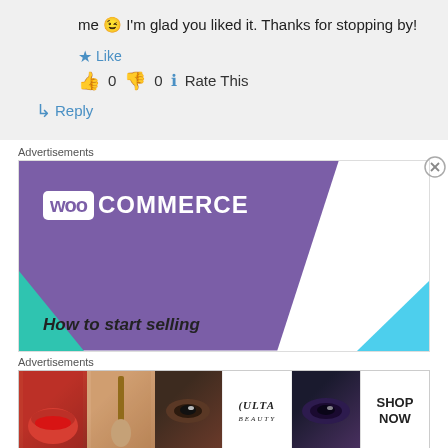me 😉 I'm glad you liked it. Thanks for stopping by!
★ Like
👍 0 👎 0 ℹ Rate This
↳ Reply
Advertisements
[Figure (screenshot): WooCommerce advertisement banner with purple background showing WooCommerce logo and text 'How to start selling']
Advertisements
[Figure (screenshot): Beauty/cosmetics advertisement strip showing makeup images, ULTA logo, and SHOP NOW button]